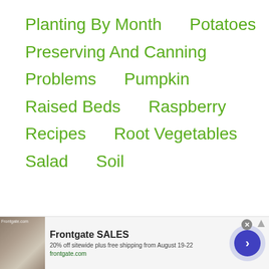Planting By Month
Potatoes
Preserving And Canning
Problems
Pumpkin
Raised Beds
Raspberry
Recipes
Root Vegetables
Salad
Soil
[Figure (other): Frontgate SALES advertisement banner with outdoor furniture image, text '20% off sitewide plus free shipping from August 19-22', frontgate.com, close button, and navigation arrow button]